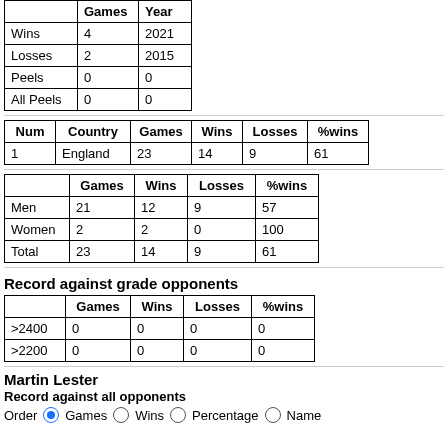|  | Games | Year |
| --- | --- | --- |
| Wins | 4 | 2021 |
| Losses | 2 | 2015 |
| Peels | 0 | 0 |
| All Peels | 0 | 0 |
| Num | Country | Games | Wins | Losses | %wins |
| --- | --- | --- | --- | --- | --- |
| 1 | England | 23 | 14 | 9 | 61 |
|  | Games | Wins | Losses | %wins |
| --- | --- | --- | --- | --- |
| Men | 21 | 12 | 9 | 57 |
| Women | 2 | 2 | 0 | 100 |
| Total | 23 | 14 | 9 | 61 |
Record against grade opponents
|  | Games | Wins | Losses | %wins |
| --- | --- | --- | --- | --- |
| >2400 | 0 | 0 | 0 | 0 |
| >2200 | 0 | 0 | 0 | 0 |
Martin Lester
Record against all opponents
Order  Games  Wins  Percentage  Name